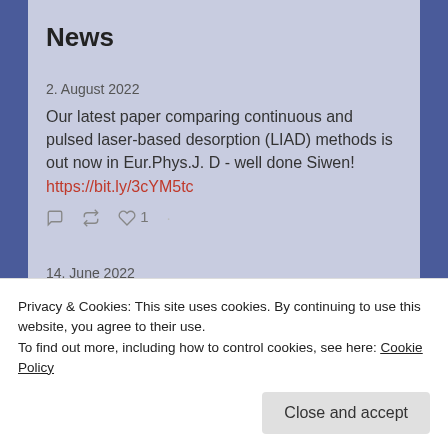News
2. August 2022
Our latest paper comparing continuous and pulsed laser-based desorption (LIAD) methods is out now in Eur.Phys.J. D - well done Siwen! https://bit.ly/3cYM5tc
14. June 2022
Our latest paper showing how the electrostatic
Privacy & Cookies: This site uses cookies. By continuing to use this website, you agree to their use.
To find out more, including how to control cookies, see here: Cookie Policy
Close and accept
1. June 2022